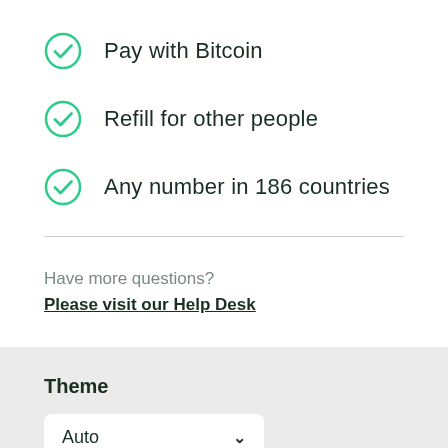Pay with Bitcoin
Refill for other people
Any number in 186 countries
Have more questions? Please visit our Help Desk
Theme
Auto